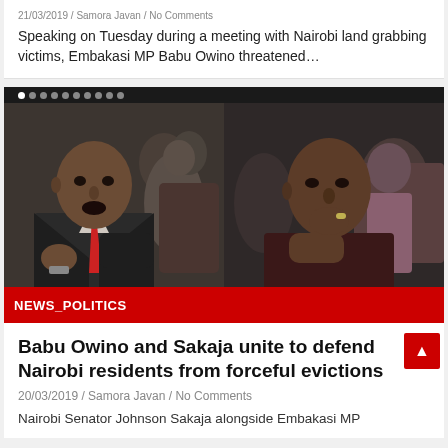Speaking on Tuesday during a meeting with Nairobi land grabbing victims, Embakasi MP Babu Owino threatened…
[Figure (photo): Carousel image showing two people side by side: a man in a suit with a red tie speaking/gesturing on the left, and another man with hand near his face on the right. Red bar at bottom reads NEWS_POLITICS.]
NEWS_POLITICS
Babu Owino and Sakaja unite to defend Nairobi residents from forceful evictions
20/03/2019 / Samora Javan / No Comments
Nairobi Senator Johnson Sakaja alongside Embakasi MP